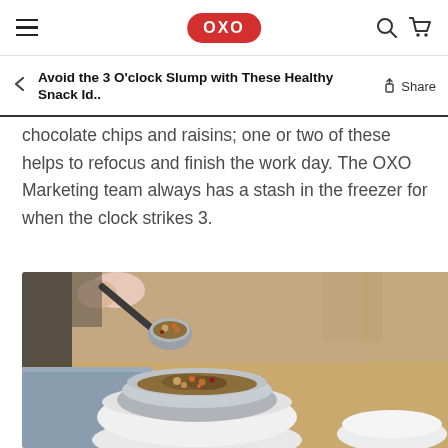OXO (navigation bar with hamburger menu, OXO logo, search and cart icons)
Avoid the 3 O'clock Slump with These Healthy Snack Id..
chocolate chips and raisins; one or two of these helps to refocus and finish the work day. The OXO Marketing team always has a stash in the freezer for when the clock strikes 3.
[Figure (photo): A hand holding a metal cookie scoop filled with granola/energy ball mixture over a stainless steel bowl containing more of the mixture, placed on a white bowl, with a blue cloth napkin in the background on a wooden surface.]